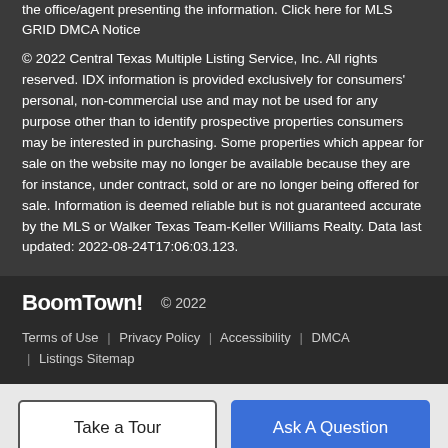the office/agent presenting the information. Click here for MLS GRID DMCA Notice
© 2022 Central Texas Multiple Listing Service, Inc. All rights reserved. IDX information is provided exclusively for consumers' personal, non-commercial use and may not be used for any purpose other than to identify prospective properties consumers may be interested in purchasing. Some properties which appear for sale on the website may no longer be available because they are for instance, under contract, sold or are no longer being offered for sale. Information is deemed reliable but is not guaranteed accurate by the MLS or Walker Texas Team-Keller Williams Realty. Data last updated: 2022-08-24T17:06:03.123.
BoomTown! © 2022 | Terms of Use | Privacy Policy | Accessibility | DMCA | Listings Sitemap
Take a Tour | Ask A Question